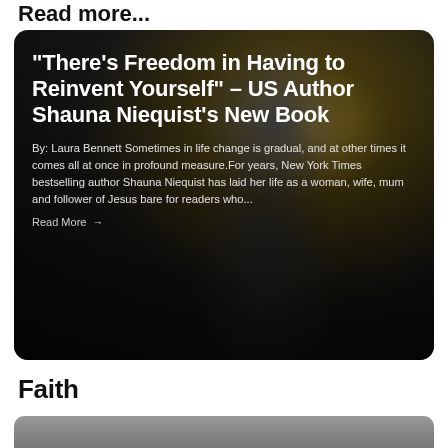Read more...
[Figure (photo): A dark, moody portrait of a woman with short dark hair, overlaid with text. The background features warm bokeh lighting on the right side.]
“There’s Freedom in Having to Reinvent Yourself” – US Author Shauna Niequist’s New Book
By: Laura Bennett Sometimes in life change is gradual, and at other times it comes all at once in profound measure.For years, New York Times bestselling author Shauna Niequist has laid her life as a woman, wife, mum and follower of Jesus bare for readers who...
Read More →
Faith